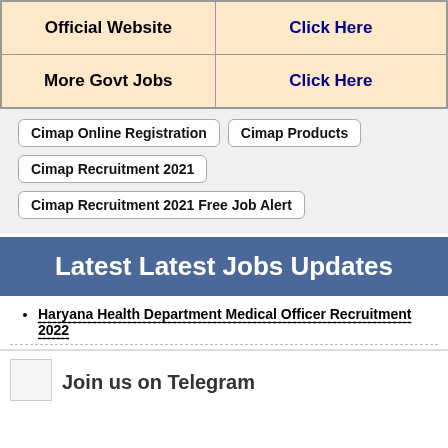|  |  |
| --- | --- |
| Official Website | Click Here |
| More Govt Jobs | Click Here |
Cimap Online Registration
Cimap Products
Cimap Recruitment 2021
Cimap Recruitment 2021 Free Job Alert
Latest Latest Jobs Updates
Haryana Health Department Medical Officer Recruitment 2022
Join us on Telegram